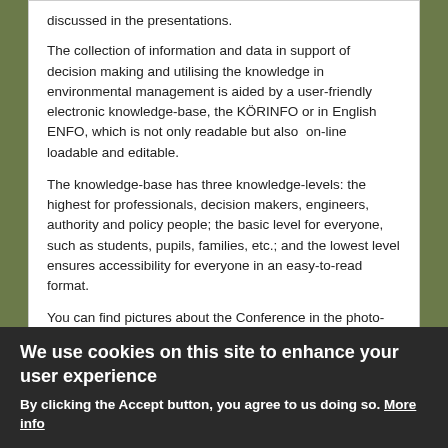discussed in the presentations.
The collection of information and data in support of decision making and utilising the knowledge in environmental management is aided by a user-friendly electronic knowledge-base, the KÖRINFO or in English ENFO, which is not only readable but also on-line loadable and editable.
The knowledge-base has three knowledge-levels: the highest for professionals, decision makers, engineers, authority and policy people; the basic level for everyone, such as students, pupils, families, etc.; and the lowest level ensures accessibility for everyone in an easy-to-read format.
You can find pictures about the Conference in the photo-album of the event.
We use cookies on this site to enhance your user experience
By clicking the Accept button, you agree to us doing so. More info